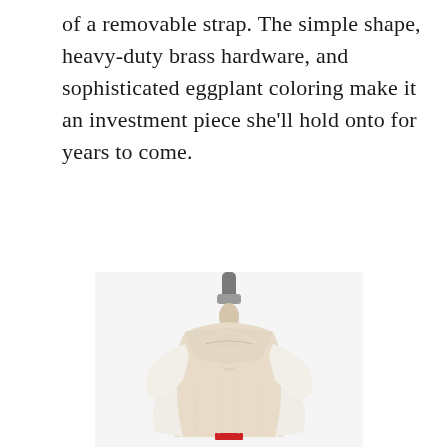of a removable strap. The simple shape, heavy-duty brass hardware, and sophisticated eggplant coloring make it an investment piece she'll hold onto for years to come.
[Figure (photo): A white garment with sheer upper yoke and wide batwing/flutter sleeves displayed on a beige dress form/mannequin with a metallic neck post. A small red label is visible at the bottom hem.]